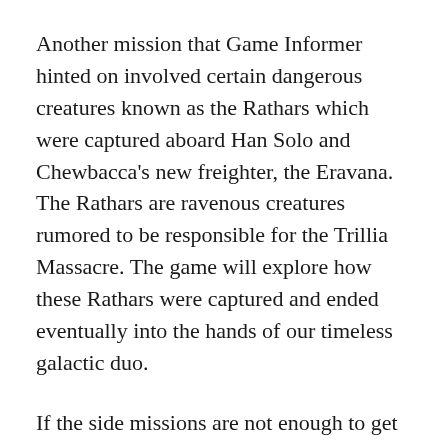Another mission that Game Informer hinted on involved certain dangerous creatures known as the Rathars which were captured aboard Han Solo and Chewbacca's new freighter, the Eravana. The Rathars are ravenous creatures rumored to be responsible for the Trillia Massacre. The game will explore how these Rathars were captured and ended eventually into the hands of our timeless galactic duo.
If the side missions are not enough to get you excited and placing your pre-order, LEGO sweetens the deal by offering a Deluxe Edition that includes a rare and exclusive 30605 Finn (FN-2187) minifigure polybag bundled with the Season Pass for the season. Available both...